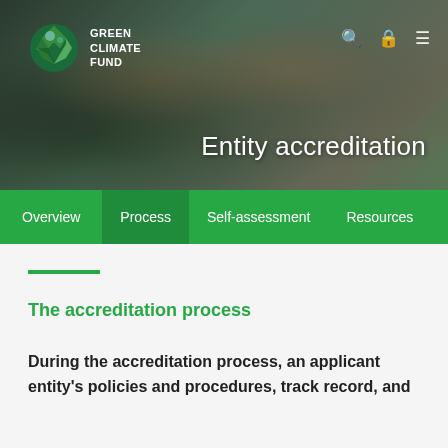[Figure (photo): Hero image showing people shaking hands across a table in an office/meeting setting, with Green Climate Fund logo and navigation icons overlaid. Dark greenish toned photograph.]
Entity accreditation
Overview | Process | Self-assessment | Resources
The accreditation process
During the accreditation process, an applicant entity's policies and procedures, track record, and